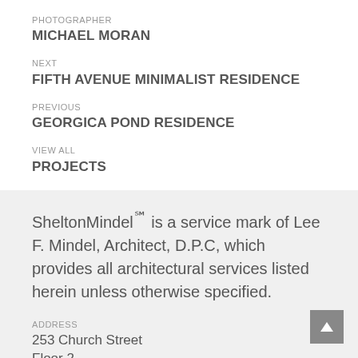PHOTOGRAPHER
MICHAEL MORAN
NEXT
FIFTH AVENUE MINIMALIST RESIDENCE
PREVIOUS
GEORGICA POND RESIDENCE
VIEW ALL
PROJECTS
SheltonMindel℠ is a service mark of Lee F. Mindel, Architect, D.P.C, which provides all architectural services listed herein unless otherwise specified.
ADDRESS
253 Church Street
Floor 2